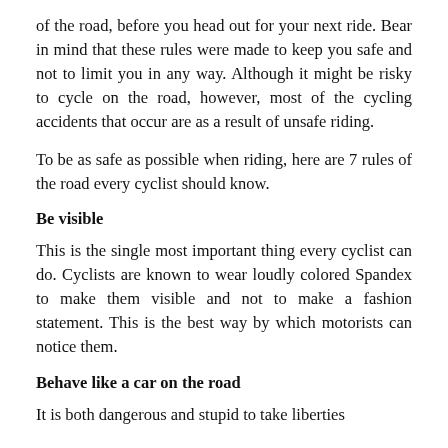of the road, before you head out for your next ride. Bear in mind that these rules were made to keep you safe and not to limit you in any way. Although it might be risky to cycle on the road, however, most of the cycling accidents that occur are as a result of unsafe riding.
To be as safe as possible when riding, here are 7 rules of the road every cyclist should know.
Be visible
This is the single most important thing every cyclist can do. Cyclists are known to wear loudly colored Spandex to make them visible and not to make a fashion statement. This is the best way by which motorists can notice them.
Behave like a car on the road
It is both dangerous and stupid to take liberties